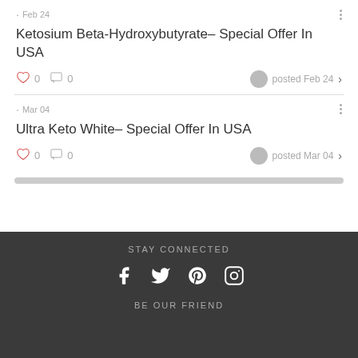· Feb 24
Ketosium Beta-Hydroxybutyrate– Special Offer In USA
0  0  posted Feb 24 >
· Mar 04
Ultra Keto White– Special Offer In USA
0  0  posted Mar 04 >
STAY CONNECTED
BE OUR FRIEND